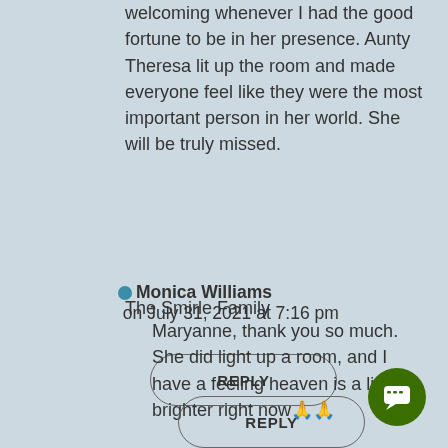welcoming whenever I had the good fortune to be in her presence. Aunty Theresa lit up the room and made everyone feel like they were the most important person in her world. She will be truly missed.
The Smirle Family
REPLY
Monica Williams on July 31, 2021 at 7:16 pm
Maryanne, thank you so much. She did light up a room, and I have a feeling heaven is a little brighter right now🙏🙏
REPLY